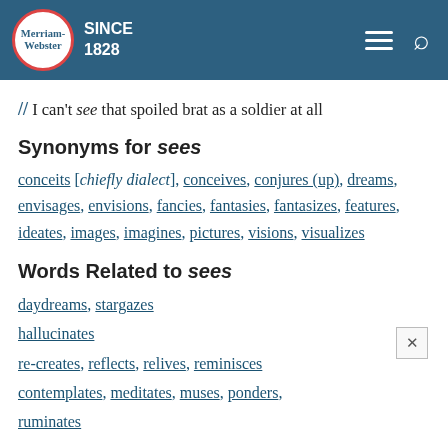[Figure (logo): Merriam-Webster logo with red circle border, SINCE 1828 text, and navigation icons]
// I can't see that spoiled brat as a soldier at all
Synonyms for sees
conceits [chiefly dialect], conceives, conjures (up), dreams, envisages, envisions, fancies, fantasies, fantasizes, features, ideates, images, imagines, pictures, visions, visualizes
Words Related to sees
daydreams, stargazes
hallucinates
re-creates, reflects, relives, reminisces
contemplates, meditates, muses, ponders, ruminates